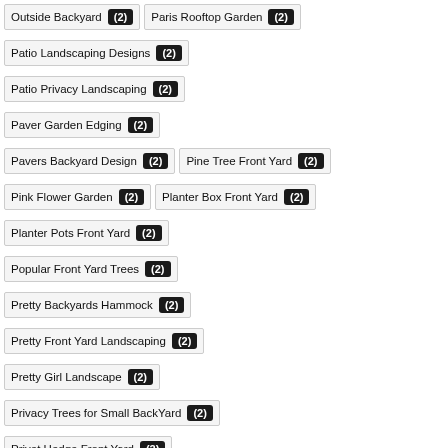Outside Backyard (2)
Paris Rooftop Garden (2)
Patio Landscaping Designs (2)
Patio Privacy Landscaping (2)
Paver Garden Edging (2)
Pavers Backyard Design (2)
Pine Tree Front Yard (2)
Pink Flower Garden (2)
Planter Box Front Yard (2)
Planter Pots Front Yard (2)
Popular Front Yard Trees (2)
Pretty Backyards Hammock (2)
Pretty Front Yard Landscaping (2)
Pretty Girl Landscape (2)
Privacy Trees for Small BackYard (2)
Privet Hedge Front Yard (2)